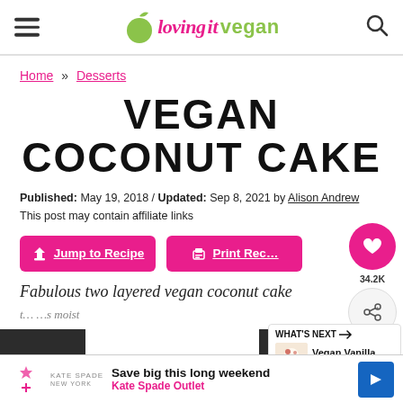lovingitvegan — navigation header with hamburger menu and search icon
Home » Desserts
VEGAN COCONUT CAKE
Published: May 19, 2018 / Updated: Sep 8, 2021 by Alison Andrew. This post may contain affiliate links
Jump to Recipe
Print Recipe
Fabulous two layered vegan coconut cake